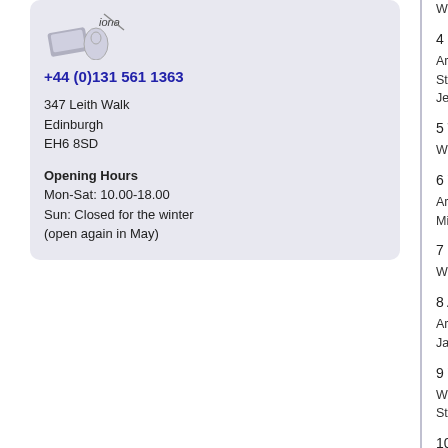[Figure (logo): Shop logo with stylized design and text 'iona']
+44 (0)131 561 1363
347 Leith Walk
Edinburgh
EH6 8SD
Opening Hours
Mon-Sat: 10.00-18.00
Sun: Closed for the winter
(open again in May)
Written By – H. Warren /...
4 Little Ole Wine Drinker,...

Arranged By – Bill Justis,...StrangeWritten By – Way...Jennings*, Mills*
5 The Door Is Still Open...

Written-By – Chuck Willis...
6 Volare (Nel Blu Di Pinto...

Arranged By – Gus Leve...MigliacciWritten-By – D. M...
7 In The Chapel In The M...

Written-By – Billy Hill
8 Ain't That A Kick In The...

Arranged By – Nelson Ri...James van Heusen / San...
9 You're Nobody 'Til Som...

Written By – Morgan / Ca...Stock*, Morgan*
10 Let Me Go Lover

Written By – J.L. Carson...